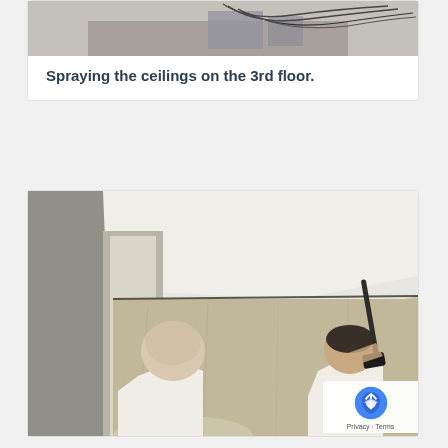[Figure (photo): Top portion of a photo showing a room interior with wires/cables visible, partially cropped]
Spraying the ceilings on the 3rd floor.
[Figure (photo): Two workers spraying or applying treatment to ceiling in an interior room. One bald worker on left facing away, another worker on right holding a spray gun pointed upward. Ceiling is white, walls are bare/unpainted. A privacy/reCAPTCHA badge is visible in bottom right corner.]